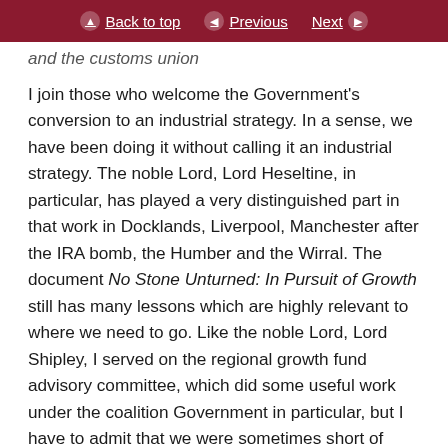Back to top | Previous | Next
and the customs union
I join those who welcome the Government's conversion to an industrial strategy. In a sense, we have been doing it without calling it an industrial strategy. The noble Lord, Lord Heseltine, in particular, has played a very distinguished part in that work in Docklands, Liverpool, Manchester after the IRA bomb, the Humber and the Wirral. The document No Stone Unturned: In Pursuit of Growth still has many lessons which are highly relevant to where we need to go. Like the noble Lord, Lord Shipley, I served on the regional growth fund advisory committee, which did some useful work under the coalition Government in particular, but I have to admit that we were sometimes short of